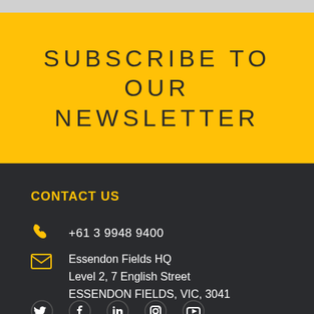SUBSCRIBE TO OUR NEWSLETTER
CONTACT US
+61 3 9948 9400
Essendon Fields HQ
Level 2, 7 English Street
ESSENDON FIELDS, VIC, 3041
[Figure (infographic): Social media icons row: Twitter, Facebook, LinkedIn, Instagram, YouTube]